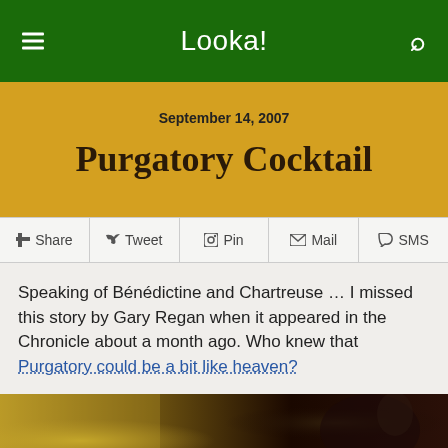Looka!
September 14, 2007
Purgatory Cocktail
Share
Tweet
Pin
Mail
SMS
Speaking of Bénédictine and Chartreuse … I missed this story by Gary Regan when it appeared in the Chronicle about a month ago. Who knew that Purgatory could be a bit like heaven?
[Figure (photo): Dark amber-toned photograph showing what appears to be a cocktail or bar scene with warm golden and brown tones]